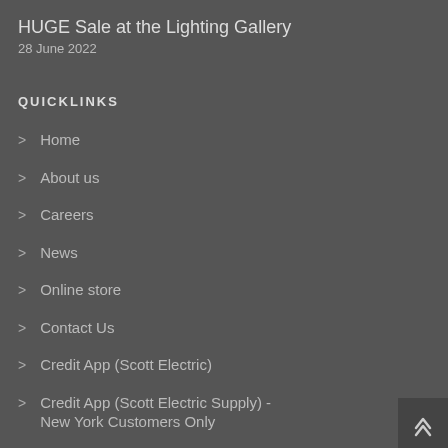HUGE Sale at the Lighting Gallery
28 June 2022
QUICKLINKS
Home
About us
Careers
News
Online store
Contact Us
Credit App (Scott Electric)
Credit App (Scott Electric Supply) - New York Customers Only
Steel Certification Form (St-2)